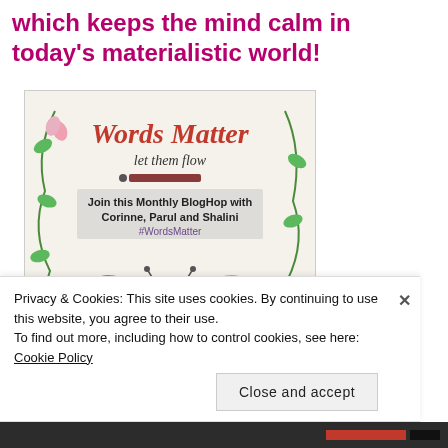which keeps the mind calm in today's materialistic world!
[Figure (illustration): Words Matter blog hop promotional image with butterfly and floral decorations. Title 'Words Matter' in italic red, subtitle 'let them flow', pencil graphic, banner text 'Join this Monthly BlogHop with Corinne, Parul and Shalini', hashtag #WordsMatter, large purple butterfly.]
Privacy & Cookies: This site uses cookies. By continuing to use this website, you agree to their use.
To find out more, including how to control cookies, see here: Cookie Policy
Close and accept